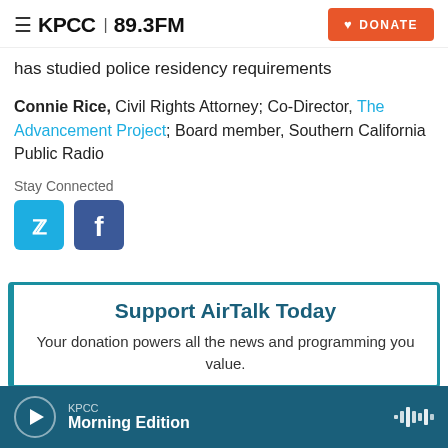KPCC 89.3FM | DONATE
has studied police residency requirements
Connie Rice, Civil Rights Attorney; Co-Director, The Advancement Project; Board member, Southern California Public Radio
Stay Connected
[Figure (other): Twitter and Facebook social media icon buttons]
Support AirTalk Today
Your donation powers all the news and programming you value.
KPCC Morning Edition (audio player bar)